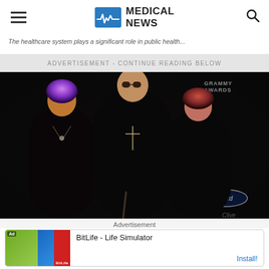MEDICAL NEWS
The healthcare system plays a significant role in public health...
ADVERTISEMENT - CONTINUE READING BELOW
[Figure (photo): Three people posing on a red carpet with Grammy Awards and Clive Davis branding in background. Left person has purple hair, center person is taller wearing all black, right person has reddish hair. IBM and Ford logos visible on backdrop.]
Advertisement
BitLife - Life Simulator
Install!